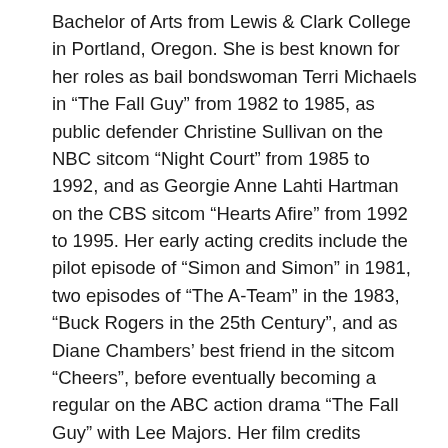Bachelor of Arts from Lewis & Clark College in Portland, Oregon. She is best known for her roles as bail bondswoman Terri Michaels in “The Fall Guy” from 1982 to 1985, as public defender Christine Sullivan on the NBC sitcom “Night Court” from 1985 to 1992, and as Georgie Anne Lahti Hartman on the CBS sitcom “Hearts Afire” from 1992 to 1995. Her early acting credits include the pilot episode of “Simon and Simon” in 1981, two episodes of “The A-Team” in the 1983, “Buck Rogers in the 25th Century”, and as Diane Chambers’ best friend in the sitcom “Cheers”, before eventually becoming a regular on the ABC action drama “The Fall Guy” with Lee Majors. Her film credits include “There’s Something About Mary”, in which she played the mother of Cameron Diaz’s character. She appeared in the “30 Rock” episode “The One with the Cast of Night Court” playing herself when she, Harry Anderson, and Charles Robinson staged a mock reunion of the “Night Court” cast.